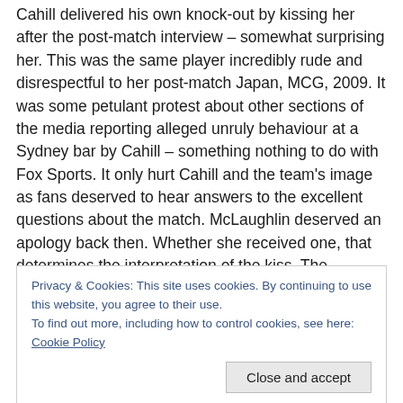Cahill delivered his own knock-out by kissing her after the post-match interview – somewhat surprising her. This was the same player incredibly rude and disrespectful to her post-match Japan, MCG, 2009. It was some petulant protest about other sections of the media reporting alleged unruly behaviour at a Sydney bar by Cahill – something nothing to do with Fox Sports. It only hurt Cahill and the team's image as fans deserved to hear answers to the excellent questions about the match. McLaughlin deserved an apology back then. Whether she received one, that determines the interpretation of the kiss. The
Privacy & Cookies: This site uses cookies. By continuing to use this website, you agree to their use.
To find out more, including how to control cookies, see here: Cookie Policy
Close and accept
and typing limited to just the left hand.